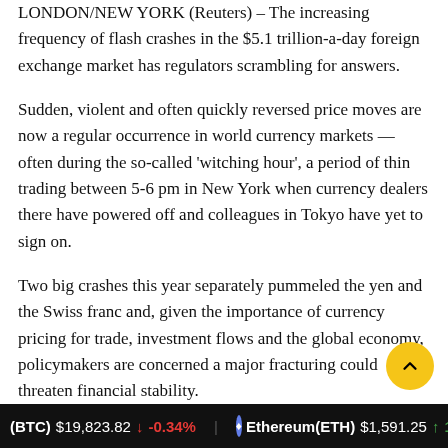LONDON/NEW YORK (Reuters) – The increasing frequency of flash crashes in the $5.1 trillion-a-day foreign exchange market has regulators scrambling for answers.
Sudden, violent and often quickly reversed price moves are now a regular occurrence in world currency markets — often during the so-called 'witching hour', a period of thin trading between 5-6 pm in New York when currency dealers there have powered off and colleagues in Tokyo have yet to sign on.
Two big crashes this year separately pummeled the yen and the Swiss franc and, given the importance of currency pricing for trade, investment flows and the global economy, policymakers are concerned a major fracturing could threaten financial stability.
“The question is, is this a new normal, or is it a canary in the coalmine sort of thing?” said Fabio Natalucci, deputy director
(BTC) $19,823.82 ↓ -0.34%   Ethereum(ETH) $1,591.25 ↑ 1.50%